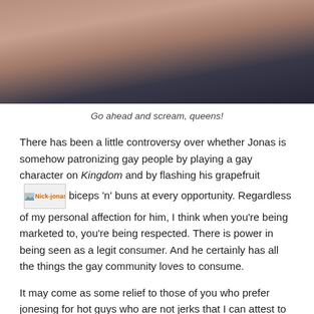[Figure (photo): Partial view of a shirtless person from behind/side, dark background with gym equipment visible]
Go ahead and scream, queens!
There has been a little controversy over whether Jonas is somehow patronizing gay people by playing a gay character on Kingdom and by flashing his grapefruit biceps 'n' buns at every opportunity. Regardless of my personal affection for him, I think when you're being marketed to, you're being respected. There is power in being seen as a legit consumer. And he certainly has all the things the gay community loves to consume.
It may come as some relief to those of you who prefer jonesing for hot guys who are not jerks that I can attest to just how nice Nick is. At the end of 2014, when Nick—by now an adult heartthrob enjoying solo success— made a surprise